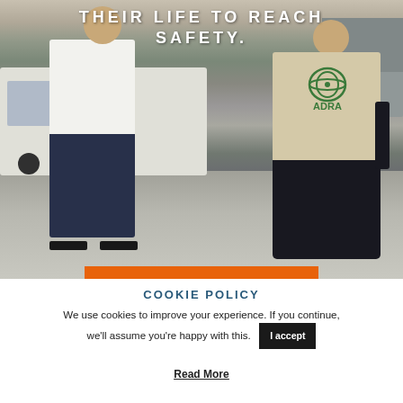[Figure (photo): Two people standing on a street in front of a white car. One person wears a white shirt and dark pants, the other wears an ADRA branded vest over dark clothing. The text 'THEIR LIFE TO REACH SAFETY.' is overlaid in white capital letters at the top. An orange horizontal bar appears near the bottom of the image.]
COOKIE POLICY
We use cookies to improve your experience. If you continue, we'll assume you're happy with this.
I accept
Read More